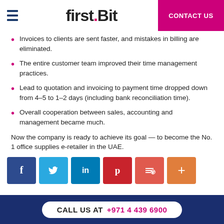first.Bit | CONTACT US
Invoices to clients are sent faster, and mistakes in billing are eliminated.
The entire customer team improved their time management practices.
Lead to quotation and invoicing to payment time dropped down from 4–5 to 1–2 days (including bank reconciliation time).
Overall cooperation between sales, accounting and management became much.
Now the company is ready to achieve its goal — to become the No. 1 office supplies e-retailer in the UAE.
[Figure (infographic): Social media share buttons: Facebook, Twitter, LinkedIn, Pinterest, Pocket, Add]
CALL US AT +971 4 439 6900